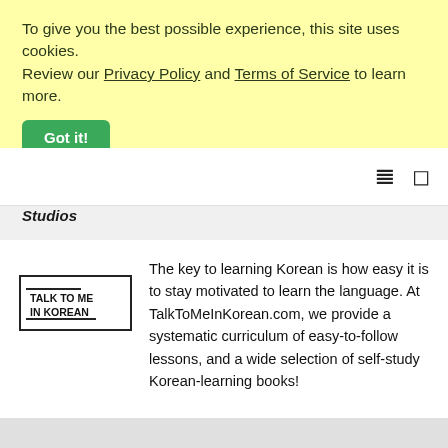To give you the best possible experience, this site uses cookies. Review our Privacy Policy and Terms of Service to learn more.
Got it!
Studios
[Figure (logo): Talk To Me In Korean logo — rectangular border with text TALK TO ME IN KOREAN]
The key to learning Korean is how easy it is to stay motivated to learn the language. At TalkToMeInKorean.com, we provide a systematic curriculum of easy-to-follow lessons, and a wide selection of self-study Korean-learning books!